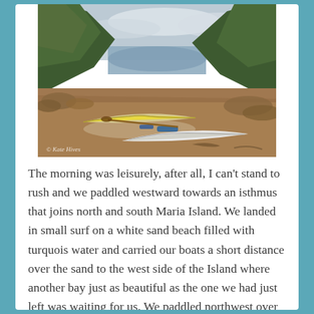[Figure (photo): Sea kayaks resting on a sandy/rocky shoreline with a calm inlet and forested hillsides in the background under an overcast sky. A watermark reads '© Kate Hives' in the lower left corner.]
The morning was leisurely, after all, I can't stand to rush and we paddled westward towards an isthmus that joins north and south Maria Island. We landed in small surf on a white sand beach filled with turquois water and carried our boats a short distance over the sand to the west side of the Island where another bay just as beautiful as the one we had just left was waiting for us. We paddled northwest over shadowy shoals and landed briefly to check out the remnants of red brick solitary confinement chambers that were used when this island was once a Penal colony. (Looking out from the